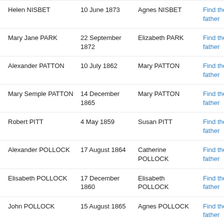| Name | Date | Mother | Action |
| --- | --- | --- | --- |
| Helen NISBET | 10 June 1873 | Agnes NISBET | Find the father |
| Mary Jane PARK | 22 September 1872 | Elizabeth PARK | Find the father |
| Alexander PATTON | 10 July 1862 | Mary PATTON | Find the father |
| Mary Semple PATTON | 14 December 1865 | Mary PATTON | Find the father |
| Robert PITT | 4 May 1859 | Susan PITT | Find the father |
| Alexander POLLOCK | 17 August 1864 | Catherine POLLOCK | Find the father |
| Elisabeth POLLOCK | 17 December 1860 | Elisabeth POLLOCK | Find the father |
| John POLLOCK | 15 August 1865 | Agnes POLLOCK | Find the father |
| William POLLOCK | 1 October 1868 | Catherine POLLOCK | Find the father |
| Mary PROVANCE | 1 March 1857 | Jane PROVANCE | Find the father |